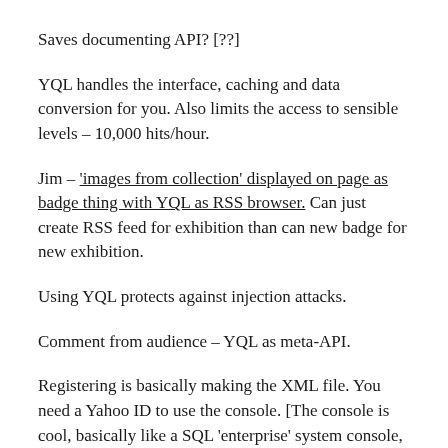Saves documenting API? [??]
YQL handles the interface, caching and data conversion for you. Also limits the access to sensible levels – 10,000 hits/hour.
Jim – 'images from collection' displayed on page as badge thing with YQL as RSS browser. Can just create RSS feed for exhibition than can new badge for new exhibition.
Using YQL protects against injection attacks.
Comment from audience – YQL as meta-API.
Registering is basically making the XML file. You need a Yahoo ID to use the console. [The console is cool, basically like a SQL 'enterprise' system console,